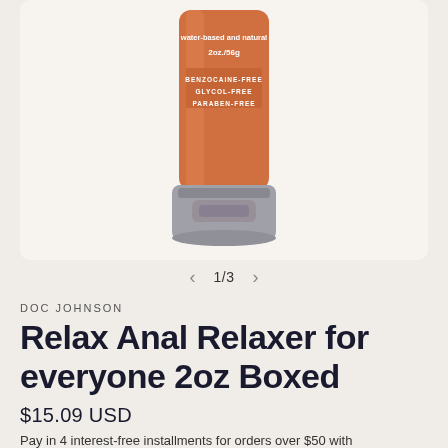[Figure (photo): Product photo of a small orange/brown squeeze tube container with silver cap. Text on tube reads 'water-based and natural', '2oz./56g', 'BENZOCAINE-FREE', 'GLYCOL-FREE', 'PARABEN-FREE'.]
1/3
DOC JOHNSON
Relax Anal Relaxer for everyone 2oz Boxed
$15.09 USD
Pay in 4 interest-free installments for orders over $50 with